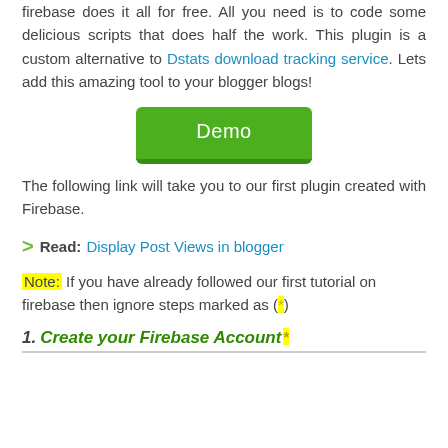firebase does it all for free. All you need is to code some delicious scripts that does half the work. This plugin is a custom alternative to Dstats download tracking service. Lets add this amazing tool to your blogger blogs!
[Figure (other): Green Demo button]
The following link will take you to our first plugin created with Firebase.
Read: Display Post Views in blogger
Note: If you have already followed our first tutorial on firebase then ignore steps marked as (*)
1. Create your Firebase Account *